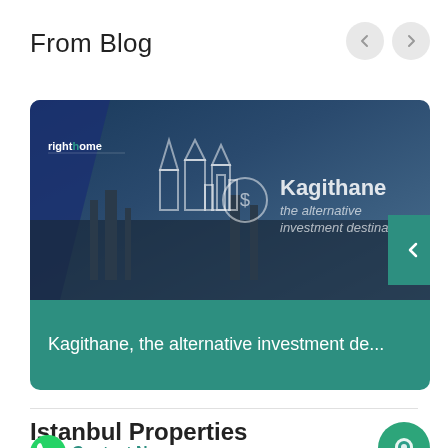From Blog
[Figure (screenshot): Blog card showing a real estate image of Kagithane Istanbul with teal overlay and text 'Kagithane the alternative investment destination in']
Kagithane, the alternative investment de...
Istanbul Properties
Contact Now
Başakşehir  Avcılar  Maslak  Beylikdüzü